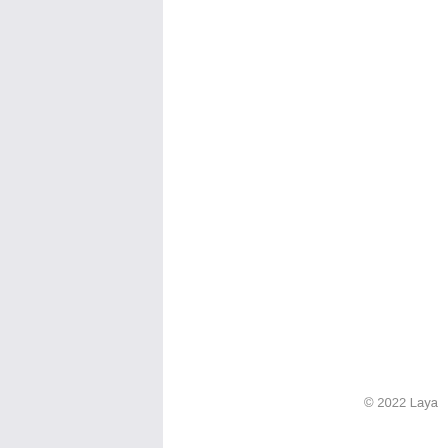detailed informati…
Some backgro…
Getting the POIs…
MySQL exa…
MS SQL ex… the metric s…
If you have any te… Environment, the…
Related top…
Third Party T…
© 2022 Laya…